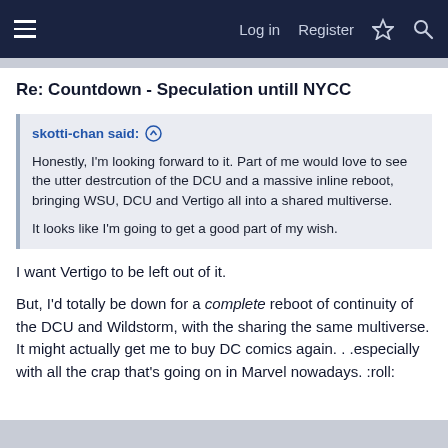Log in  Register
Re: Countdown - Speculation untill NYCC
skotti-chan said: ↑

Honestly, I'm looking forward to it. Part of me would love to see the utter destrcution of the DCU and a massive inline reboot, bringing WSU, DCU and Vertigo all into a shared multiverse.

It looks like I'm going to get a good part of my wish.
I want Vertigo to be left out of it.
But, I'd totally be down for a complete reboot of continuity of the DCU and Wildstorm, with the sharing the same multiverse. It might actually get me to buy DC comics again. . .especially with all the crap that's going on in Marvel nowadays. :roll: